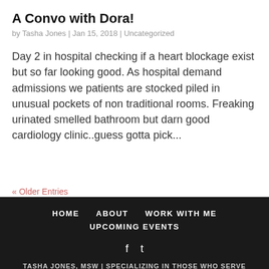A Convo with Dora!
by Tasha Jones | Jan 15, 2018 | Uncategorized
Day 2 in hospital checking if a heart blockage exist but so far looking good. As hospital demand admissions we patients are stocked piled in unusual pockets of non traditional rooms. Freaking urinated smelled bathroom but darn good cardiology clinic..guess gotta pick...
« Older Entries
HOME   ABOUT   WORK WITH ME   UPCOMING EVENTS
TASHA JONES, MSW | SPECIALIZING IN THOSE WHO SERVE